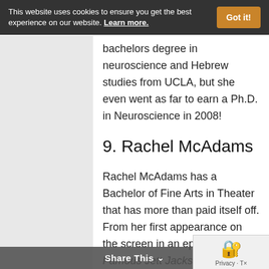This website uses cookies to ensure you get the best experience on our website. Learn more. Got it!
bachelors degree in neuroscience and Hebrew studies from UCLA, but she even went as far to earn a Ph.D. in Neuroscience in 2008!
9. Rachel McAdams
Rachel McAdams has a Bachelor of Fine Arts in Theater that has more than paid itself off. From her first appearance on the screen in an episode of The Famous Jett Jackson to sweet, confused Allie in The Notebook to her sassy character in
Share This